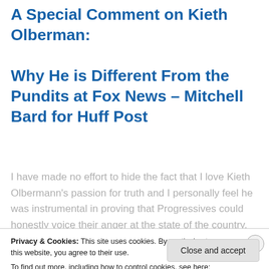A Special Comment on Kieth Olberman: Why He is Different From the Pundits at Fox News – Mitchell Bard for Huff Post
I have made no effort to hide the fact that I love Kieth Olbermann's passion for truth and I personally feel he was instrumental in proving that Progressives could honestly voice their anger at the state of the country, and survive on Television. In fact, to the contrary, he flourished and
Privacy & Cookies: This site uses cookies. By continuing to use this website, you agree to their use.
To find out more, including how to control cookies, see here: Cookie Policy